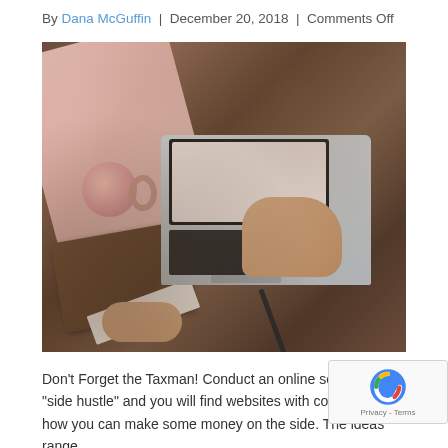By Dana McGuffin | December 20, 2018 | Comments Off
[Figure (photo): Overhead view of a person typing on a laptop on a wooden desk, with a pink cloth, a cup of coffee, a notebook/journal, and a pen nearby. Another hand holds the journal at the bottom.]
Don't Forget the Taxman! Conduct an online search of the “side hustle” and you will find websites with countless ideas how you can make some money on the side. The ideas range